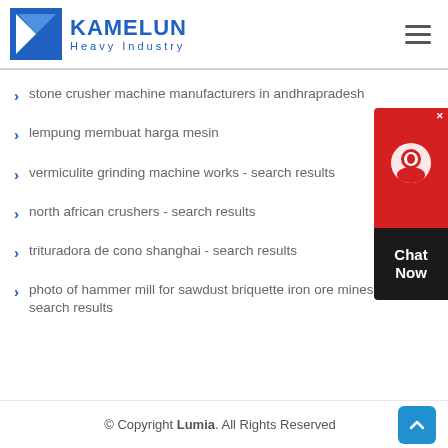KAMELUN Heavy Industry
stone crusher machine manufacturers in andhrapradesh
lempung membuat harga mesin
vermiculite grinding machine works - search results
north african crushers - search results
trituradora de cono shanghai - search results
photo of hammer mill for sawdust briquette iron ore mines liberia - search results
[Figure (other): Chat Now customer support widget with red circle icon and dark background]
© Copyright Lumia. All Rights Reserved